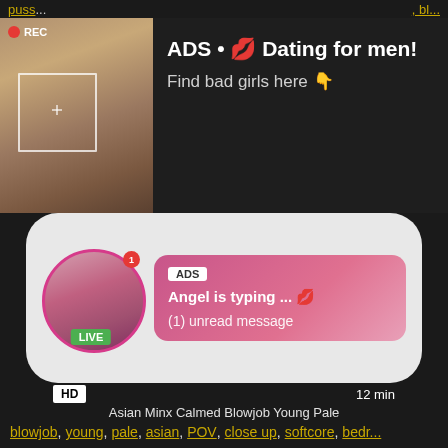[Figure (advertisement): Dating ad banner with photo of a woman taking a mirror selfie, REC badge, and text overlay]
ADS • 💋 Dating for men! Find bad girls here 👇
puss
, bl...
[Figure (advertisement): Live chat ad showing avatar with LIVE badge, pink gradient message bubble with ADS tag, 'Angel is typing ... 💋', '(1) unread message']
HD
12 min
Asian Minx Calmed Blowjob Young Pale
blowjob, young, pale, asian, POV, close up, softcore, bedr...